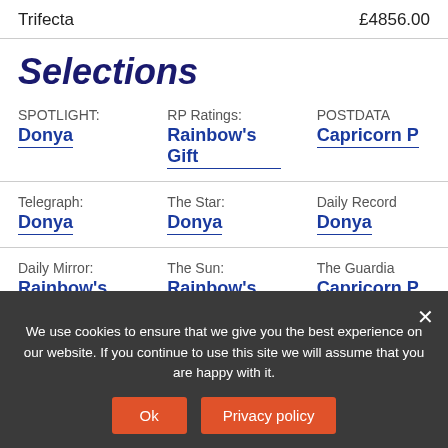Trifecta	£4856.00
Selections
SPOTLIGHT: Donya | RP Ratings: Rainbow's Gift | POSTDATA: Capricorn P
Telegraph: Donya | The Star: Donya | Daily Record: Donya
Daily Mirror: Rainbow's Gift | The Sun: Rainbow's Gift | The Guardian: Capricorn P
We use cookies to ensure that we give you the best experience on our website. If you continue to use this site we will assume that you are happy with it.
Top tips